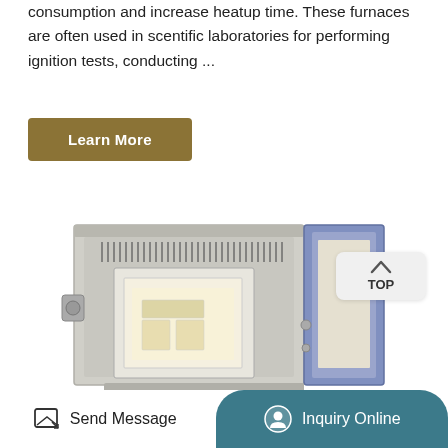consumption and increase heatup time. These furnaces are often used in scentific laboratories for performing ignition tests, conducting ...
Learn More
[Figure (photo): A laboratory muffle furnace with its blue door open, showing the white ceramic interior chamber with heating elements. The furnace has a gray metal exterior body.]
TOP
Send Message
Inquiry Online